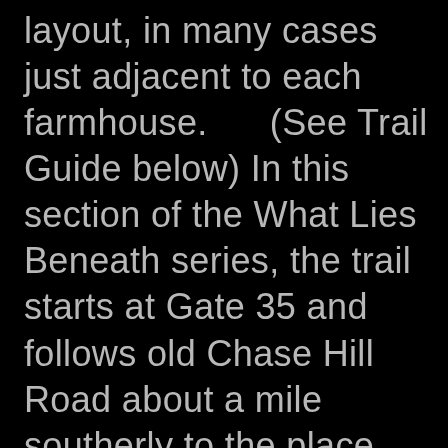layout, in many cases just adjacent to each farmhouse.      (See Trail Guide below) In this section of the What Lies Beneath series, the trail starts at Gate 35 and follows old Chase Hill Road about a mile southerly to the place where it